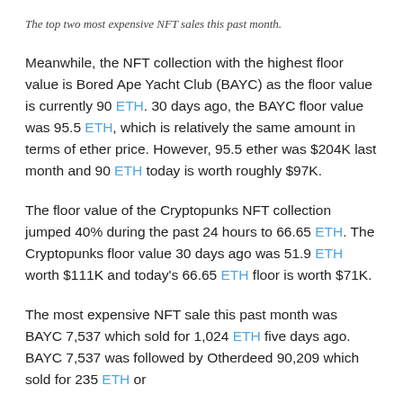The top two most expensive NFT sales this past month.
Meanwhile, the NFT collection with the highest floor value is Bored Ape Yacht Club (BAYC) as the floor value is currently 90 ETH. 30 days ago, the BAYC floor value was 95.5 ETH, which is relatively the same amount in terms of ether price. However, 95.5 ether was $204K last month and 90 ETH today is worth roughly $97K.
The floor value of the Cryptopunks NFT collection jumped 40% during the past 24 hours to 66.65 ETH. The Cryptopunks floor value 30 days ago was 51.9 ETH worth $111K and today's 66.65 ETH floor is worth $71K.
The most expensive NFT sale this past month was BAYC 7,537 which sold for 1,024 ETH five days ago. BAYC 7,537 was followed by Otherdeed 90,209 which sold for 235 ETH or